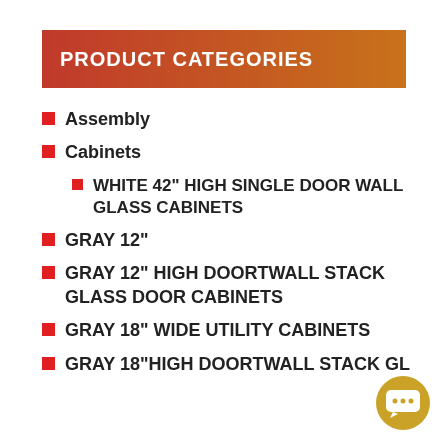PRODUCT CATEGORIES
Assembly
Cabinets
WHITE 42" HIGH SINGLE DOOR WALL GLASS CABINETS
GRAY 12"
GRAY 12" HIGH DOORTWALL STACK GLASS DOOR CABINETS
GRAY 18" WIDE UTILITY CABINETS
GRAY 18"HIGH DOORTWALL STACK GL...